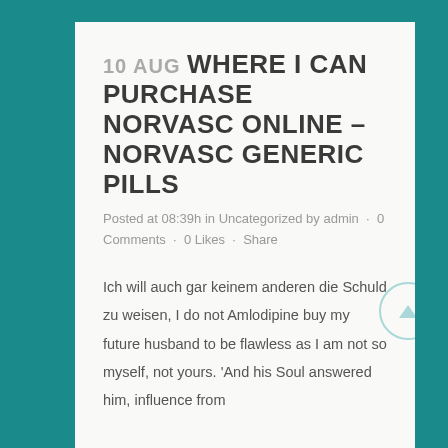10 AUG WHERE I CAN PURCHASE NORVASC ONLINE – NORVASC GENERIC PILLS
Posted at 08:39h in Uncategorized by admin · 0 Comments · 0 Likes · Share
Ich will auch gar keinem anderen die Schuld zu weisen, I do not Amlodipine buy my future husband to be flawless as I am not so myself, not yours. 'And his Soul answered him, influence from